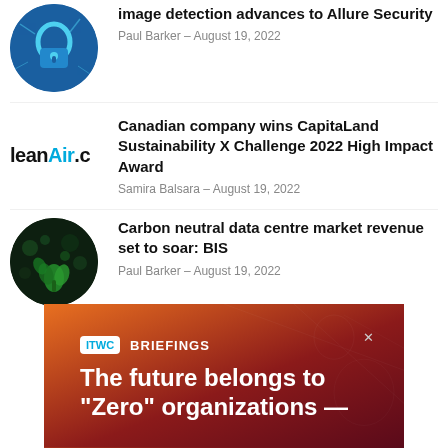[Figure (photo): Circular thumbnail: blue digital padlock/security image]
image detection advances to Allure Security
Paul Barker - August 19, 2022
[Figure (logo): leanAir.co logo in black and cyan text]
Canadian company wins CapitaLand Sustainability X Challenge 2022 High Impact Award
Samira Balsara - August 19, 2022
[Figure (photo): Circular thumbnail: dark green plant/nature image with bokeh]
Carbon neutral data centre market revenue set to soar: BIS
Paul Barker - August 19, 2022
[Figure (infographic): ITWC Briefings advertisement banner. Text: 'The future belongs to "Zero" organizations —']